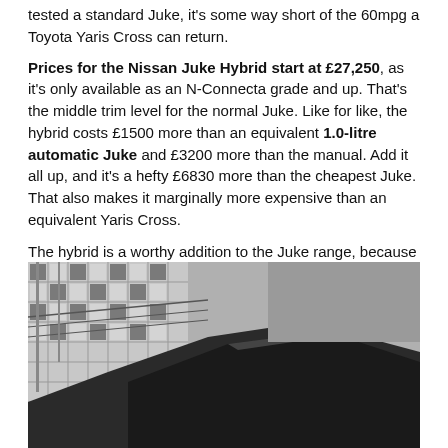tested a standard Juke, it's some way short of the 60mpg a Toyota Yaris Cross can return.
Prices for the Nissan Juke Hybrid start at £27,250, as it's only available as an N-Connecta grade and up. That's the middle trim level for the normal Juke. Like for like, the hybrid costs £1500 more than an equivalent 1.0-litre automatic Juke and £3200 more than the manual. Add it all up, and it's a hefty £6830 more than the cheapest Juke. That also makes it marginally more expensive than an equivalent Yaris Cross.
The hybrid is a worthy addition to the Juke range, because it brings some flexibility and economy to the powertrain while preserving the interior space and ambience, as well as the tidy road manners. Its efficiency is ultimately disappointing and the price could prove slightly too ambitious.
[Figure (photo): Close-up black and white photograph showing the exterior roof or body panel detail of a car, with a tiled building facade visible in the background.]